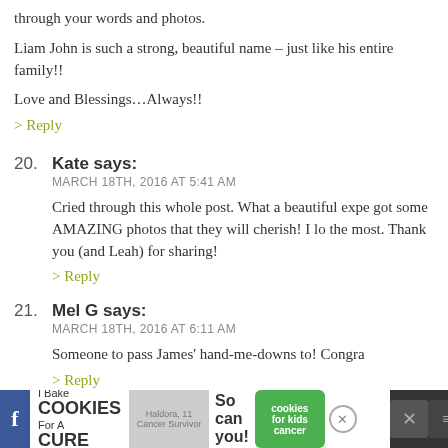through your words and photos.
Liam John is such a strong, beautiful name – just like his entire family!!
Love and Blessings…Always!!
> Reply
20. Kate says: MARCH 18TH, 2016 AT 5:41 AM
Cried through this whole post. What a beautiful expe got some AMAZING photos that they will cherish! I lo the most. Thank you (and Leah) for sharing!
> Reply
21. Mel G says: MARCH 18TH, 2016 AT 6:11 AM
Someone to pass James' hand-me-downs to! Congra
> Reply
[Figure (screenshot): Advertisement banner at the bottom: 'I Bake COOKIES For A CURE' with an image of a girl, 'So can you!' text and cookies for kids cancer logo]